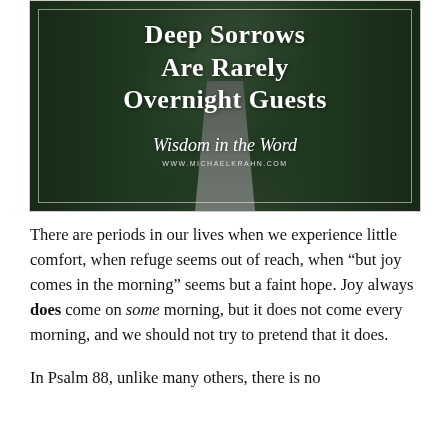[Figure (photo): Forest path photo with white text overlay reading 'Deep Sorrows Are Rarely Overnight Guests' and cursive script 'Wisdom in the Word' with URL www.michaelkrahn.com]
There are periods in our lives when we experience little comfort, when refuge seems out of reach, when "but joy comes in the morning" seems but a faint hope. Joy always does come on some morning, but it does not come every morning, and we should not try to pretend that it does.
In Psalm 88, unlike many others, there is no